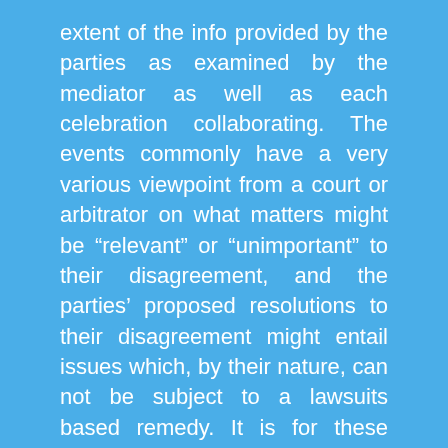extent of the info provided by the parties as examined by the mediator as well as each celebration collaborating. The events commonly have a very various viewpoint from a court or arbitrator on what matters might be “relevant” or “unimportant” to their disagreement, and the parties’ proposed resolutions to their disagreement might entail issues which, by their nature, can not be subject to a lawsuits based remedy. It is for these reasons that a mediator, in private conversations with each event, will inquire from each ranging well past the “basic details” provided to a judge, mediator or arbitrator . A mediation procedure seeks details not only regarding the interpretation of the dispute between the parties, however likewise, by means of